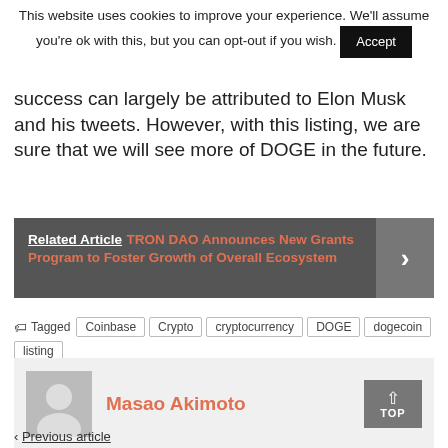This website uses cookies to improve your experience. We'll assume you're ok with this, but you can opt-out if you wish. Accept
success can largely be attributed to Elon Musk and his tweets. However, with this listing, we are sure that we will see more of DOGE in the future.
Related Article  TRON DAO Announces New Grants Program to Foster Growth of Overall Ecosystem
Tagged  Coinbase  Crypto  cryptocurrency  DOGE  dogecoin  listing
Masao Akimoto
Previous article